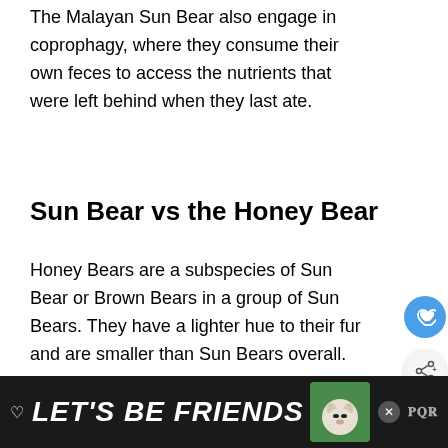The Malayan Sun Bear also engage in coprophagy, where they consume their own feces to access the nutrients that were left behind when they last ate.
Sun Bear vs the Honey Bear
Honey Bears are a subspecies of Sun Bear or Brown Bears in a group of Sun Bears. They have a lighter hue to their fur and are smaller than Sun Bears overall.
[Figure (other): WHAT'S NEXT arrow widget showing Bengal Tiger thumbnail with text 'Bengal Tiger: Why Is It...']
[Figure (other): Advertisement banner with dark background reading LET'S BE FRIENDS with a dog image and heart icon]